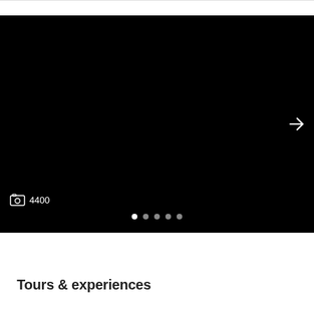[Figure (screenshot): Black image panel with a right arrow navigation button on the right side, a photo icon and count '4400' in bottom-left, and 5 pagination dots at the bottom center (first dot active/white).]
Tours & experiences